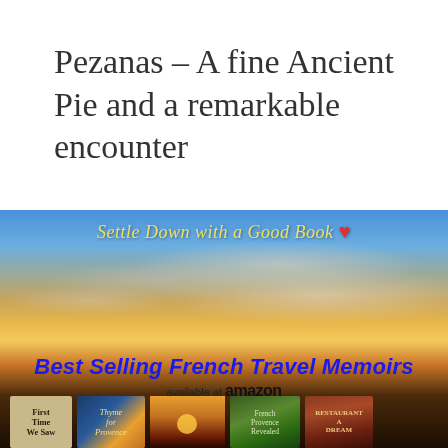Pezanas – A fine Ancient Pie and a remarkable encounter
[Figure (illustration): Book advertisement banner with sunset sky background. Text reads 'Settle Down with a Good Book' in italic yellow with red heart. Below: 'Best Selling French Travel Memoirs available at amazon'. Four book covers shown at bottom: 'First Time We Saw', 'Thyme for Provence', a sunset-style book, 'French Provence Revealed', and 'Restaurant A Dream'.]